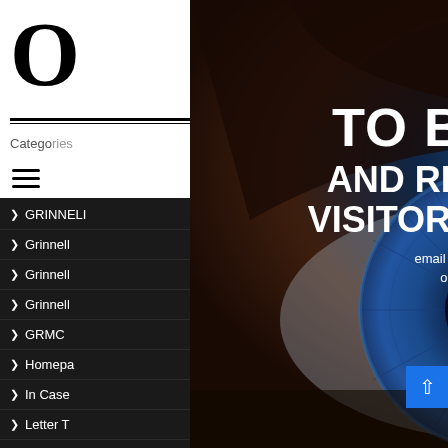O ... LL
Categories
GRINNELL (227)
Grinnell (1)
Grinnell (5)
Grinnell (782)
GRMC (77)
Homepage (500)
In Case (492)
Letter T (
Mayflow (7)
Sarah S (4)
[Figure (infographic): Advertisement overlay showing a close-up blue eye with bold white text: 'TO BE SEEN AND REACH EVERY VISITOR TO THIS SITE' with contact info 'email jack@ourgrinnell.com or call 515-306-7946' and the OurGrinnell logo at bottom]